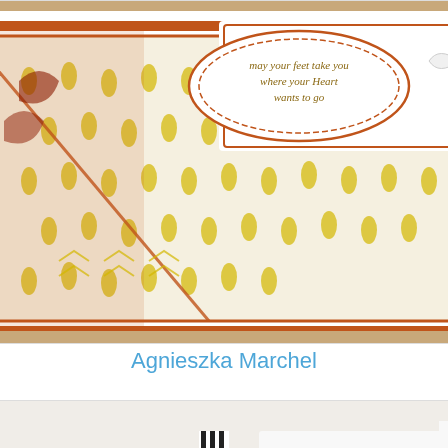[Figure (photo): A handmade greeting card with orange and white patterned paper featuring yellow flip-flop motifs, a decorative heart element, an oval stamped sentiment tag reading 'may your feet take you where your Heart wants to go', and a white ribbon bow.]
Agnieszka Marchel
[Figure (photo): A handmade card/gift bag featuring mixed patterned papers (pink floral, dark maroon damask, polka dot), black and white striped ribbon tied in a bow, and a large yellow paper flower embellishment with a red button center.]